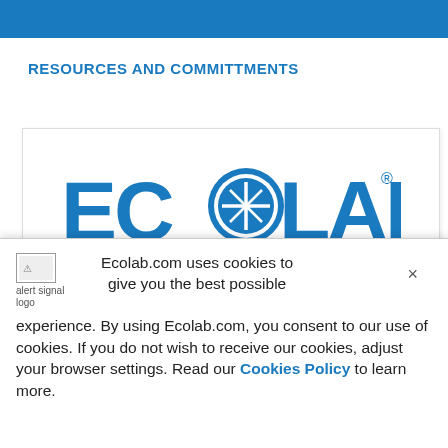RESOURCES AND COMMITTMENTS
[Figure (logo): Ecolab logo displayed in large blue text inside a white card with border]
Ecolab.com uses cookies to give you the best possible experience. By using Ecolab.com, you consent to our use of cookies. If you do not wish to receive our cookies, adjust your browser settings. Read our Cookies Policy to learn more.